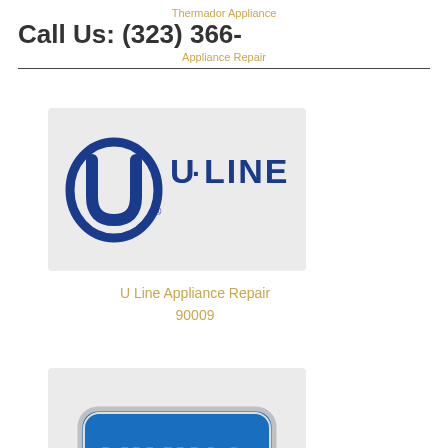Thermador Appliance
Call Us: (323) 366-
Appliance Repair
[Figure (logo): U-Line brand logo with circular U emblem and U·LINE text on light gray background]
U Line Appliance Repair 90009
[Figure (logo): Viking brand logo - silver/chrome badge with blue background and VIKING text, registered trademark]
Viking Appliance Repair